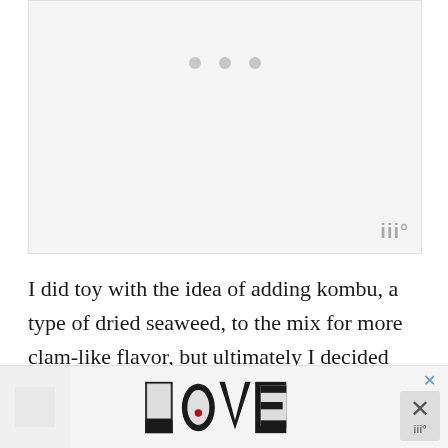[Figure (photo): Light gray placeholder image area with three gray dots centered near the top, and a watermark logo in the lower right corner]
I did toy with the idea of adding kombu, a type of dried seaweed, to the mix for more clam-like flavor, but ultimately I decided that I loved this vegan clam chowder recipe exactly the way it is – no extra ingredients needed.
[Figure (illustration): Advertisement banner showing a decorative LOVE logo in black and white patterned letters with a small red heart, and a close/dismiss button with an X on the right side]